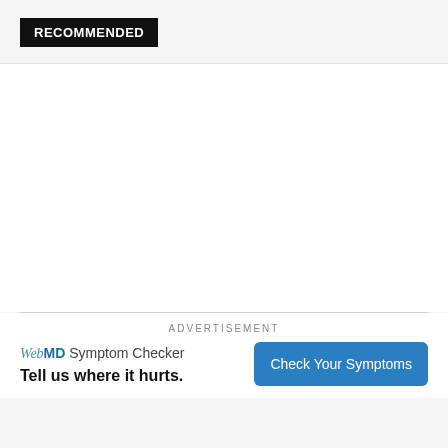RECOMMENDED
ADVERTISEMENT
[Figure (other): WebMD advertisement banner with logo, tagline 'Tell us where it hurts.' and 'Check Your Symptoms' button]